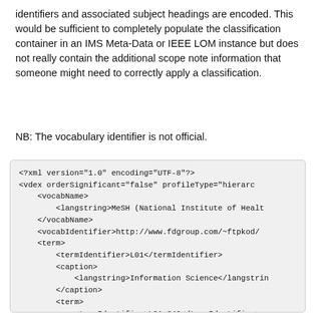identifiers and associated subject headings are encoded. This would be sufficient to completely populate the classification container in an IMS Meta-Data or IEEE LOM instance but does not really contain the additional scope note information that someone might need to correctly apply a classification.
NB: The vocabulary identifier is not official.
<?xml version="1.0" encoding="UTF-8"?>
<vdex orderSignificant="false" profileType="hierarc
    <vocabName>
        <langstring>MeSH (National Institute of Healt
    </vocabName>
    <vocabIdentifier>http://www.fdgroup.com/~ftpkod/
    <term>
        <termIdentifier>L01</termIdentifier>
        <caption>
            <langstring>Information Science</langstrin
        </caption>
        <term>
            <termIdentifier>L01.040</termIdentifier>
            <caption>
                <langstring>Book Collecting</langstring
            </caption>